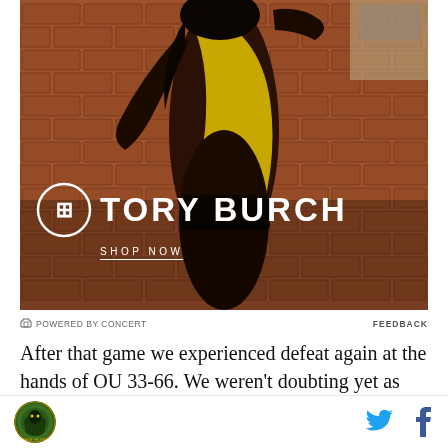[Figure (photo): Tory Burch advertisement showing a model in a brown and yellow outfit against a brick wall background, with Tory Burch logo and 'SHOP NOW' text overlaid]
POWERED BY CONCERT    FEEDBACK
After that game we experienced defeat again at the hands of OU 33-66. We weren't doubting yet as the